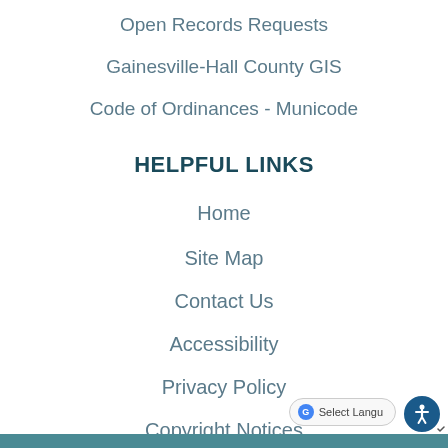Open Records Requests
Gainesville-Hall County GIS
Code of Ordinances - Municode
HELPFUL LINKS
Home
Site Map
Contact Us
Accessibility
Privacy Policy
Copyright Notices